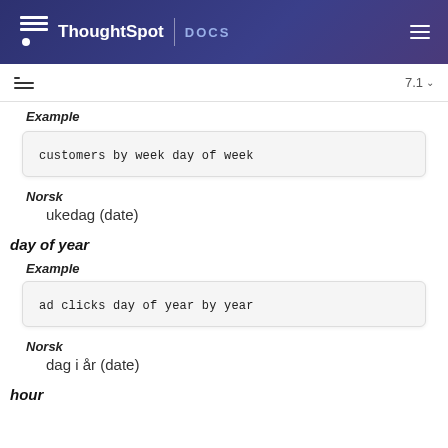ThoughtSpot DOCS
Example
customers by week day of week
Norsk
ukedag (date)
day of year
Example
ad clicks day of year by year
Norsk
dag i år (date)
hour